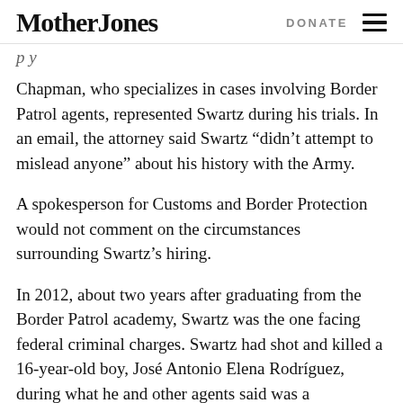Mother Jones | DONATE
p y
Chapman, who specializes in cases involving Border Patrol agents, represented Swartz during his trials. In an email, the attorney said Swartz “didn’t attempt to mislead anyone” about his history with the Army.
A spokesperson for Customs and Border Protection would not comment on the circumstances surrounding Swartz’s hiring.
In 2012, about two years after graduating from the Border Patrol academy, Swartz was the one facing federal criminal charges. Swartz had shot and killed a 16-year-old boy, José Antonio Elena Rodríguez, during what he and other agents said was a